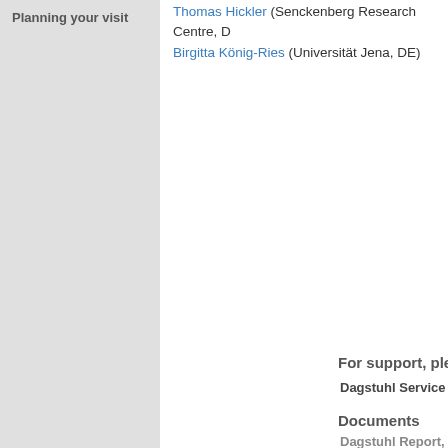Planning your visit
Thomas Hickler (Senckenberg Research Centre, DE)
Birgitta König-Ries (Universität Jena, DE)
For support, please contact
Dagstuhl Service Team
Documents
Dagstuhl Report, Volume 7, Issue 2